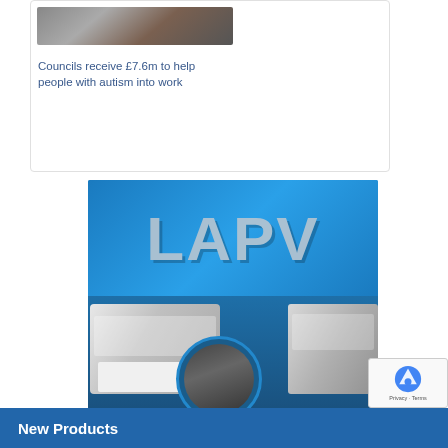[Figure (photo): Photo of people in a card at top of page]
Councils receive £7.6m to help people with autism into work
[Figure (logo): LAPV advertisement banner showing buses and sweeper vehicles with large LAPV text logo]
New Products